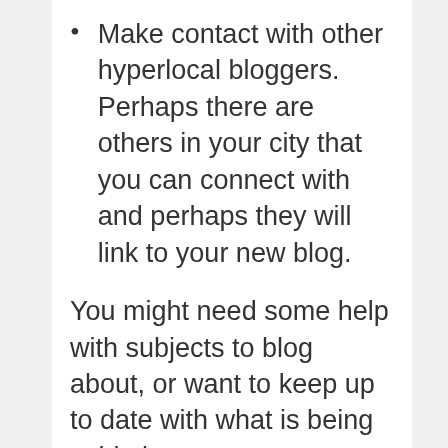Make contact with other hyperlocal bloggers. Perhaps there are others in your city that you can connect with and perhaps they will link to your new blog.
You might need some help with subjects to blog about, or want to keep up to date with what is being said about your area or local issues. Google Alerts will help you keep track of this. It’s very simple, just enter the words/names/phrases that you want Google to look out for and the latest updates on the internet will be delivered to you right...